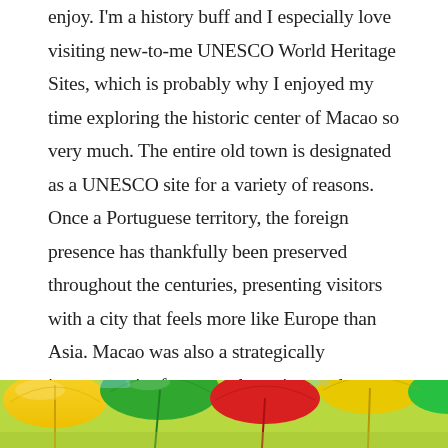enjoy. I'm a history buff and I especially love visiting new-to-me UNESCO World Heritage Sites, which is probably why I enjoyed my time exploring the historic center of Macao so very much. The entire old town is designated as a UNESCO site for a variety of reasons. Once a Portuguese territory, the foreign presence has thankfully been preserved throughout the centuries, presenting visitors with a city that feels more like Europe than Asia. Macao was also a strategically important city for a very long time and a center of trade between Europe and Asia. This history and the traditions that accompany it are thankfully all very much alive in Macao, and easy for the casual visitor to experience.
[Figure (photo): Partial view of colorful umbrellas — yellow, green, red — photographed from below or at an angle, visible at the bottom of the page.]